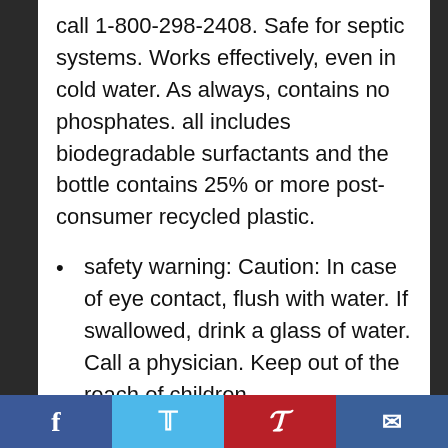call 1-800-298-2408. Safe for septic systems. Works effectively, even in cold water. As always, contains no phosphates. all includes biodegradable surfactants and the bottle contains 25% or more post-consumer recycled plastic.
safety warning: Caution: In case of eye contact, flush with water. If swallowed, drink a glass of water. Call a physician. Keep out of the reach of children.
[Facebook] [Twitter] [Pinterest] [Email]